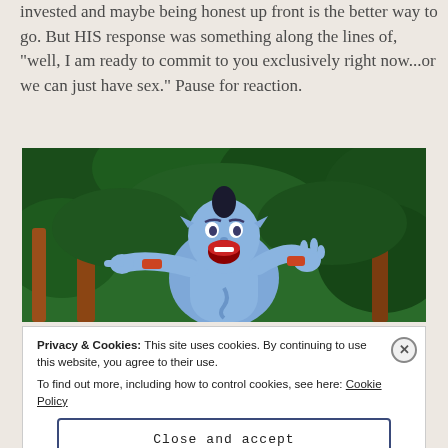invested and maybe being honest up front is the better way to go. But HIS response was something along the lines of, “well, I am ready to commit to you exclusively right now…or we can just have sex.” Pause for reaction.
[Figure (illustration): Animated cartoon character (the Genie from Aladdin) shown from the waist up against a jungle/forest background of green foliage. The blue genie is gesturing with one hand pointing and the other raised, with an open mouth expression.]
Privacy & Cookies: This site uses cookies. By continuing to use this website, you agree to their use.
To find out more, including how to control cookies, see here: Cookie Policy
Close and accept